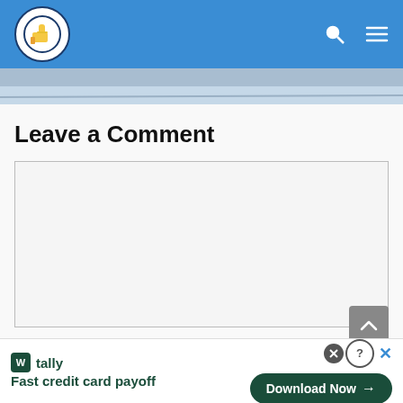[Figure (screenshot): Website header with blue background, a thumbs-up logo circle on the left, and search/menu icons on the right]
[Figure (photo): Partial beach or outdoor scene hero image strip]
Leave a Comment
[Figure (screenshot): Empty comment text area with light gray background and border]
[Figure (screenshot): Gray scroll-to-top button with up chevron]
[Figure (screenshot): Tally app advertisement banner: 'Fast credit card payoff' with Download Now button and close controls]